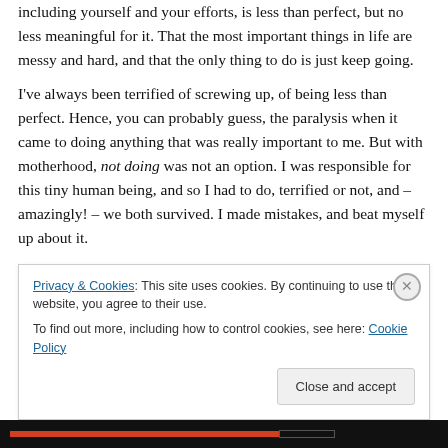including yourself and your efforts, is less than perfect, but no less meaningful for it. That the most important things in life are messy and hard, and that the only thing to do is just keep going.
I've always been terrified of screwing up, of being less than perfect. Hence, you can probably guess, the paralysis when it came to doing anything that was really important to me. But with motherhood, not doing was not an option. I was responsible for this tiny human being, and so I had to do, terrified or not, and – amazingly! – we both survived. I made mistakes, and beat myself up about it.
Privacy & Cookies: This site uses cookies. By continuing to use this website, you agree to their use.
To find out more, including how to control cookies, see here: Cookie Policy